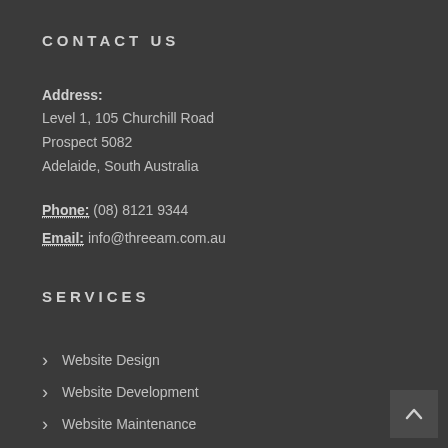CONTACT US
Address:
Level 1, 105 Churchill Road
Prospect 5082
Adelaide, South Australia
Phone: (08) 8121 9344
Email: info@threeam.com.au
SERVICES
Website Design
Website Development
Website Maintenance
WordPress Maintenance
IT Solutions